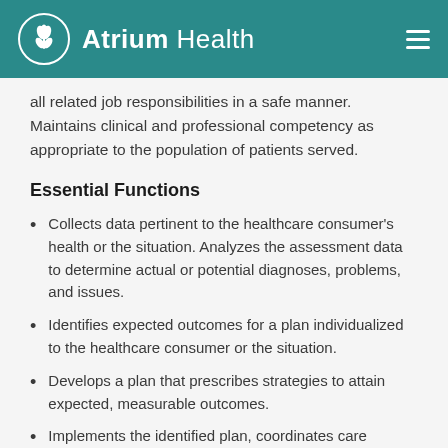Atrium Health
all related job responsibilities in a safe manner. Maintains clinical and professional competency as appropriate to the population of patients served.
Essential Functions
Collects data pertinent to the healthcare consumer's health or the situation. Analyzes the assessment data to determine actual or potential diagnoses, problems, and issues.
Identifies expected outcomes for a plan individualized to the healthcare consumer or the situation.
Develops a plan that prescribes strategies to attain expected, measurable outcomes.
Implements the identified plan, coordinates care delivery